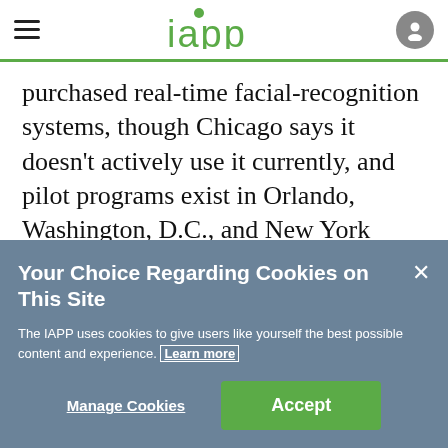iapp
purchased real-time facial-recognition systems, though Chicago says it doesn't actively use it currently, and pilot programs exist in Orlando, Washington, D.C., and New York City.
Today, half of all American adults are
Your Choice Regarding Cookies on This Site
The IAPP uses cookies to give users like yourself the best possible content and experience. Learn more
Manage Cookies   Accept